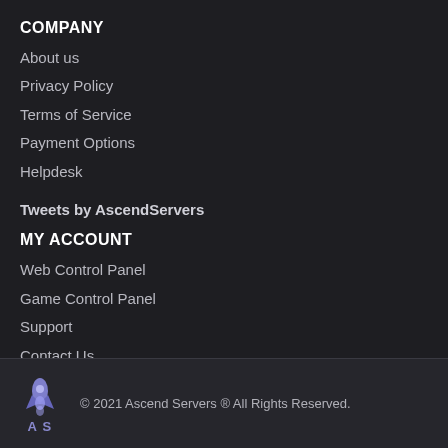COMPANY
About us
Privacy Policy
Terms of Service
Payment Options
Helpdesk
Tweets by AscendServers
MY ACCOUNT
Web Control Panel
Game Control Panel
Support
Contact Us
© 2021 Ascend Servers ® All Rights Reserved.